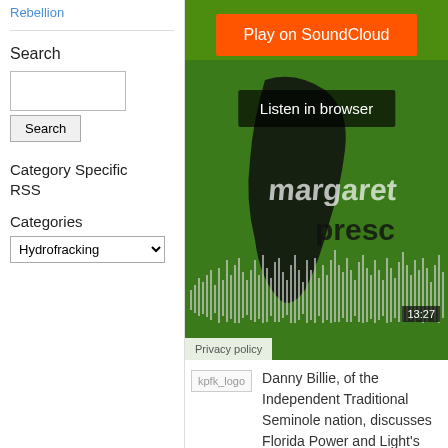Rebellion
Search
Search
Category Specific RSS
Categories
Hydrofracking
[Figure (screenshot): SoundCloud embedded audio player with orange Play on SoundCloud button, Listen in browser overlay, waveform visualization, 13:27 timestamp, and Privacy policy link. Artwork shows a green background with a map silhouette and text 'margaret presco'.]
Danny Billie, of the Independent Traditional Seminole nation, discusses Florida Power and Light's plan to build one of the nation's largest fossil fuel power plants adjacent to the Big Cypress Seminole